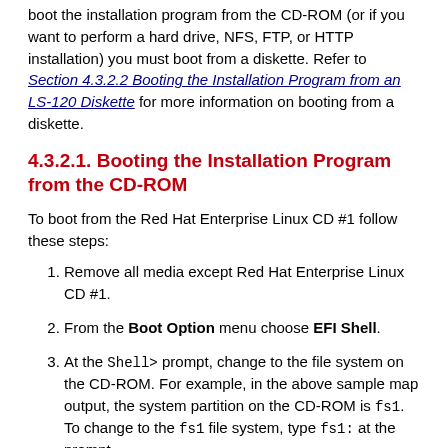boot the installation program from the CD-ROM (or if you want to perform a hard drive, NFS, FTP, or HTTP installation) you must boot from a diskette. Refer to Section 4.3.2.2 Booting the Installation Program from an LS-120 Diskette for more information on booting from a diskette.
4.3.2.1. Booting the Installation Program from the CD-ROM
To boot from the Red Hat Enterprise Linux CD #1 follow these steps:
Remove all media except Red Hat Enterprise Linux CD #1.
From the Boot Option menu choose EFI Shell.
At the Shell> prompt, change to the file system on the CD-ROM. For example, in the above sample map output, the system partition on the CD-ROM is fs1. To change to the fs1 file system, type fs1: at the prompt.